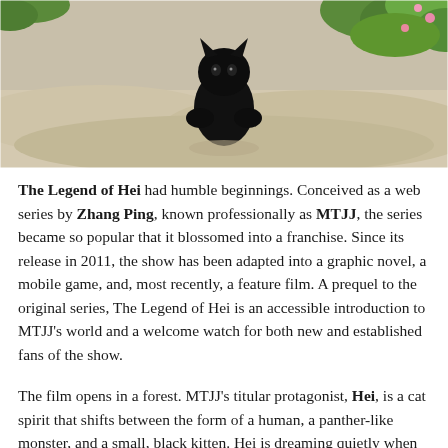[Figure (illustration): Animated scene showing a small black cat/creature sitting on sandy ground with green foliage visible in the background and upper right corner.]
The Legend of Hei had humble beginnings. Conceived as a web series by Zhang Ping, known professionally as MTJJ, the series became so popular that it blossomed into a franchise. Since its release in 2011, the show has been adapted into a graphic novel, a mobile game, and, most recently, a feature film. A prequel to the original series, The Legend of Hei is an accessible introduction to MTJJ's world and a welcome watch for both new and established fans of the show.
The film opens in a forest. MTJJ's titular protagonist, Hei, is a cat spirit that shifts between the form of a human, a panther-like monster, and a small, black kitten. Hei is dreaming quietly when the sound of machines wakes him from his sleep. A logging crew is deforesting his home. Hei tries to fight his human attackers but is rendered unconscious when an excavator overpowers